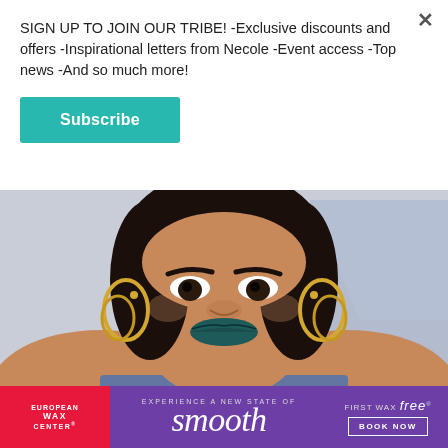SIGN UP TO JOIN OUR TRIBE! -Exclusive discounts and offers -Inspirational letters from Necole -Event access -Top news -And so much more!
Subscribe
[Figure (photo): Photo of singer Lizzo wearing blue strapless top and large gold hoop earrings, with dark teal lipstick, against a light blue/grey background]
This past Sunday, singer Lizzo took home the MTV
Video Music Award for "Best Video for Good" for...
[Figure (advertisement): European Wax Center advertisement with magenta/red logo on left, purple background with 'smooth' in large italic text center, and 'FIRST WAX free BOOK NOW' button on right]